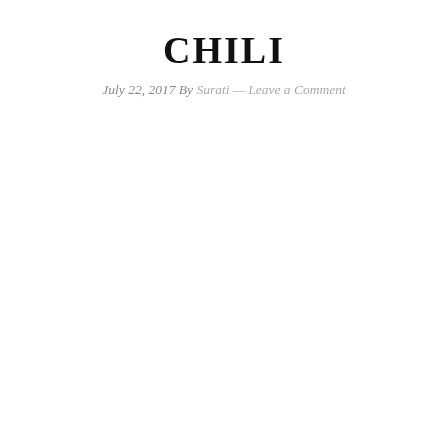CHILI
July 22, 2017 By Surati — Leave a Comment